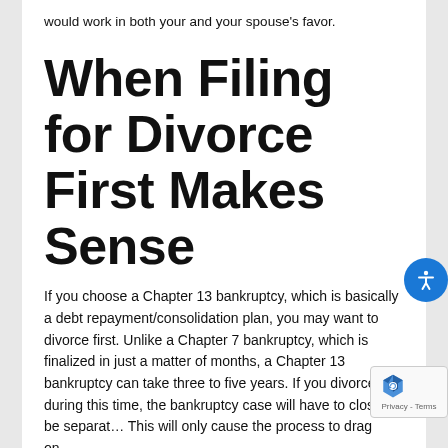would work in both your and your spouse's favor.
When Filing for Divorce First Makes Sense
If you choose a Chapter 13 bankruptcy, which is basically a debt repayment/consolidation plan, you may want to divorce first. Unlike a Chapter 7 bankruptcy, which is finalized in just a matter of months, a Chapter 13 bankruptcy can take three to five years. If you divorce during this time, the bankruptcy case will have to close or be separat… This will only cause the process to drag on…